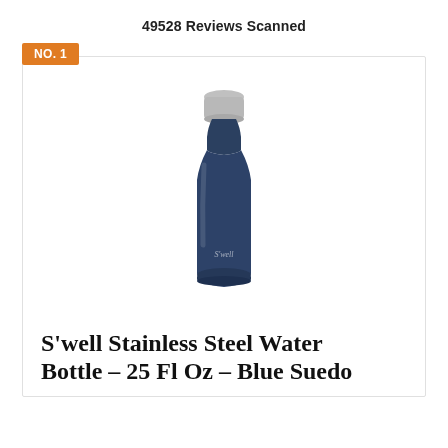49528 Reviews Scanned
[Figure (photo): S'well stainless steel water bottle in Blue Suede color, tall slim bottle with silver cap and S'well logo on lower body]
S'well Stainless Steel Water Bottle – 25 Fl Oz – Blue Suedo